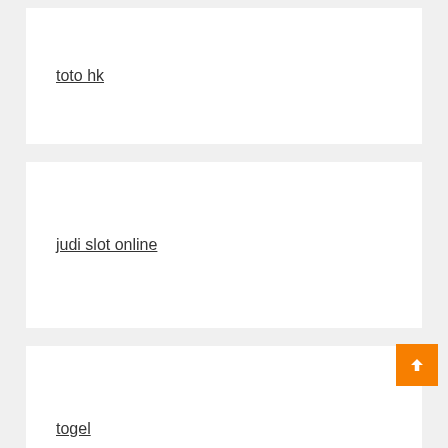toto hk
judi slot online
togel
togel hongkong